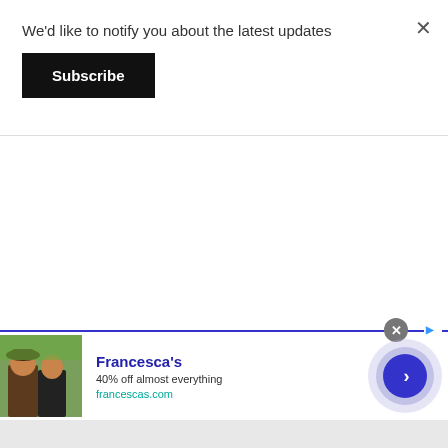We'd like to notify you about the latest updates
Subscribe
×
[Figure (screenshot): Advertisement banner for Francesca's showing two women outdoors, with text '40% off almost everything' and URL 'francescas.com', with a blue circular arrow button on the right]
Francesca's
40% off almost everything
francescas.com